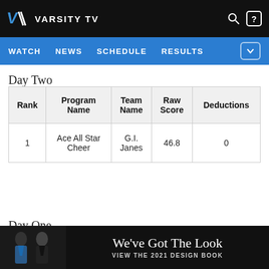VARSITY TV
Day Two
| Rank | Program Name | Team Name | Raw Score | Deductions |
| --- | --- | --- | --- | --- |
| 1 | Ace All Star Cheer | G.I. Janes | 46.8 | 0 |
Day One
[Figure (photo): Ad banner: Two cheerleaders with text 'We've Got The Look' and 'VIEW THE 2021 DESIGN BOOK']